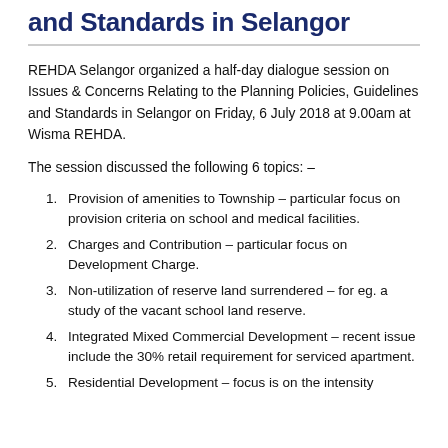and Standards in Selangor
REHDA Selangor organized a half-day dialogue session on Issues & Concerns Relating to the Planning Policies, Guidelines and Standards in Selangor on Friday, 6 July 2018 at 9.00am at Wisma REHDA.
The session discussed the following 6 topics: –
Provision of amenities to Township – particular focus on provision criteria on school and medical facilities.
Charges and Contribution – particular focus on Development Charge.
Non-utilization of reserve land surrendered – for eg. a study of the vacant school land reserve.
Integrated Mixed Commercial Development – recent issue include the 30% retail requirement for serviced apartment.
Residential Development – focus is on the intensity